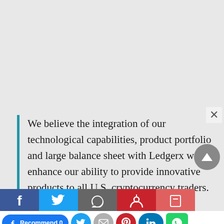We believe the integration of our technological capabilities, product portfolio and large balance sheet with Ledgerx will enhance our ability to provide innovative products to all U.S. cryptocurrency traders. We're excited to take this step and work with U.S. regulators to ensure compliance with the existing derivatives licensing regime.
[Figure (other): Social media sharing buttons row: Facebook Recommend 0, Twitter, Email, Pinterest, LinkedIn, WhatsApp; second partial row: LINE, Reddit, Tumblr; partial top row: Facebook, Twitter, share, Pinterest, Tumblr icons]